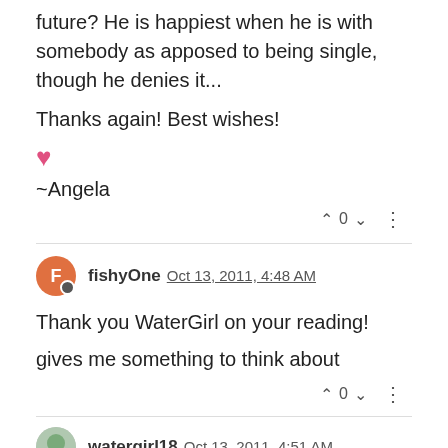future? He is happiest when he is with somebody as apposed to being single, though he denies it...
Thanks again! Best wishes!
♥
~Angela
▲ 0 ▼ ⋮
fishyOne  Oct 13, 2011, 4:48 AM
Thank you WaterGirl on your reading!
gives me something to think about
▲ 0 ▼ ⋮
watergirl18  Oct 13, 2011, 4:51 AM
Dmick,
Not sure what kind of thing this is for but this is just...